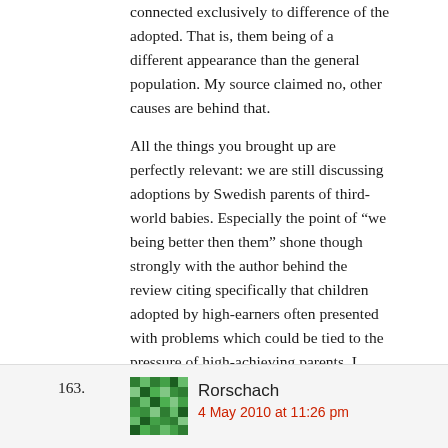connected exclusively to difference of the adopted. That is, them being of a different appearance than the general population. My source claimed no, other causes are behind that.

All the things you brought up are perfectly relevant: we are still discussing adoptions by Swedish parents of third-world babies. Especially the point of “we being better then them” shone though strongly with the author behind the review citing specifically that children adopted by high-earners often presented with problems which could be tied to the pressure of high-achieving parents. I imagine this is especially true for celebrity adoptions.
163. Rorschach
4 May 2010 at 11:26 pm